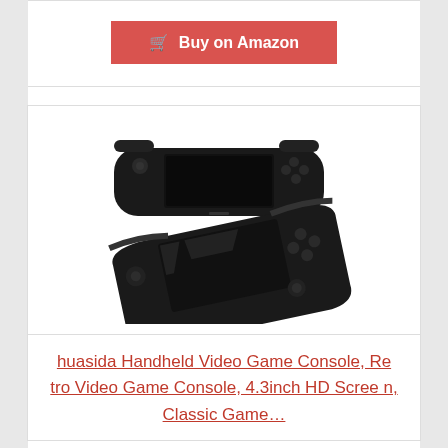Buy on Amazon
[Figure (photo): Two views of a black handheld video game console similar to PSP: top view from front showing the wide screen and controls, and angled view showing the device tilted.]
huasida Handheld Video Game Console, Retro Video Game Console, 4.3inch HD Screen, Classic Game…
Price: